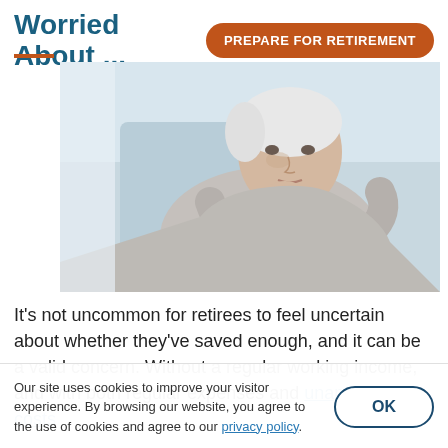Worried About ...
PREPARE FOR RETIREMENT
[Figure (photo): Middle-aged woman with short white hair sitting on a couch, looking worried or contemplative, resting her chin on her hand]
It's not uncommon for retirees to feel uncertain about whether they've saved enough, and it can be a valid concern. Without a regular working income, and with both regular expenses and unanticipated costs
Our site uses cookies to improve your visitor experience. By browsing our website, you agree to the use of cookies and agree to our privacy policy.
OK